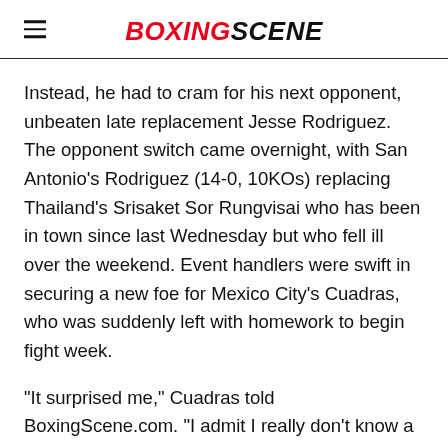BOXINGSCENE
Instead, he had to cram for his next opponent, unbeaten late replacement Jesse Rodriguez. The opponent switch came overnight, with San Antonio's Rodriguez (14-0, 10KOs) replacing Thailand's Srisaket Sor Rungvisai who has been in town since last Wednesday but who fell ill over the weekend. Event handlers were swift in securing a new foe for Mexico City's Cuadras, who was suddenly left with homework to begin fight week.
“It surprised me,” Cuadras told BoxingScene.com. “I admit I really don’t know a lot about Jesse Rodriguez. I just started watching videos on him (Monday) morning. I know that he